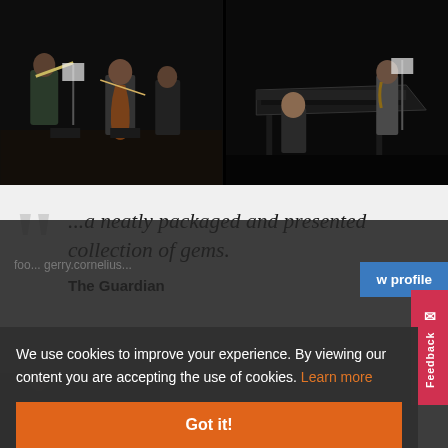[Figure (photo): Two musicians performing on stage with dark background, one playing cello, sheet music visible]
[Figure (photo): Two musicians at a piano on stage, one seated at piano, one standing with instrument]
...a neatly packaged and presented collection of gems.
The Guardian
We use cookies to improve your experience. By viewing our content you are accepting the use of cookies. Learn more
Got it!